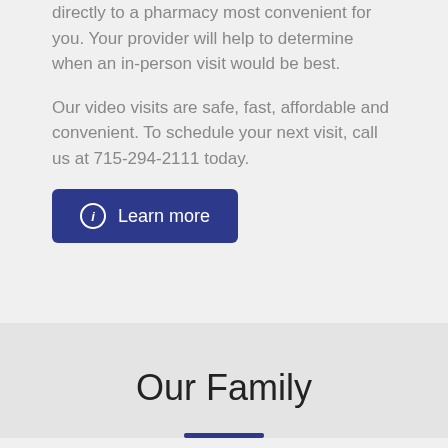directly to a pharmacy most convenient for you. Your provider will help to determine when an in-person visit would be best.
Our video visits are safe, fast, affordable and convenient. To schedule your next visit, call us at 715-294-2111 today.
[Figure (other): Blue button with info icon and text 'Learn more']
Our Family